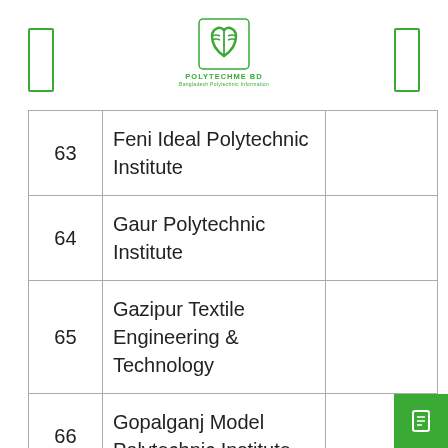POLYTECHME BD
| # | Name |  |
| --- | --- | --- |
| 63 | Feni Ideal Polytechnic Institute |  |
| 64 | Gaur Polytechnic Institute |  |
| 65 | Gazipur Textile Engineering & Technology |  |
| 66 | Gopalganj Model Polytechnic Institute |  |
| 67 | Gopalganj Science & ... |  |